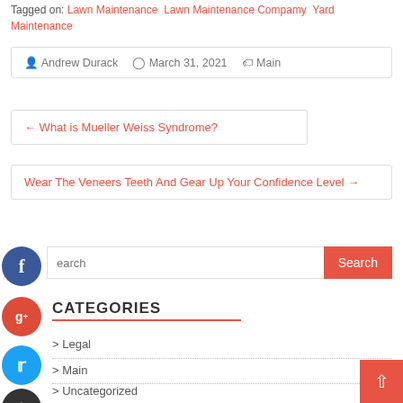Tagged on: Lawn Maintenance · Lawn Maintenance Company · Yard Maintenance
Andrew Durack   March 31, 2021   Main
← What is Mueller Weiss Syndrome?
Wear The Veneers Teeth And Gear Up Your Confidence Level →
Search
CATEGORIES
Legal
Main
Uncategorized